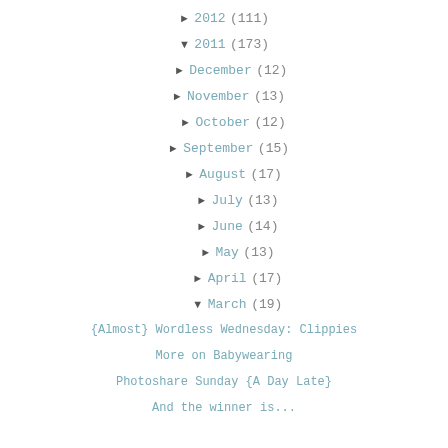► 2012 (111)
▼ 2011 (173)
► December (12)
► November (13)
► October (12)
► September (15)
► August (17)
► July (13)
► June (14)
► May (13)
► April (17)
▼ March (19)
{Almost} Wordless Wednesday: Clippies
More on Babywearing
Photoshare Sunday {A Day Late}
And the winner is...